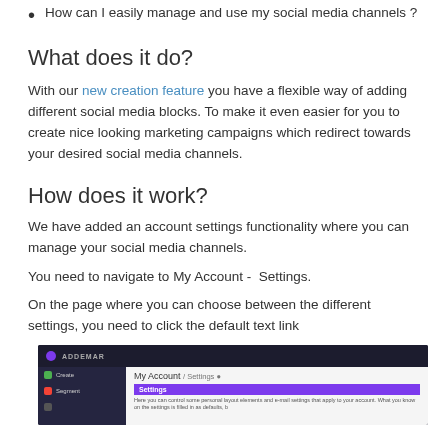How can I easily manage and use my social media channels ?
What does it do?
With our new creation feature you have a flexible way of adding different social media blocks. To make it even easier for you to create nice looking marketing campaigns which redirect towards your desired social media channels.
How does it work?
We have added an account settings functionality where you can manage your social media channels.
You need to navigate to My Account -  Settings.
On the page where you can choose between the different settings, you need to click the default text link
[Figure (screenshot): Screenshot of Addemar platform showing My Account / Settings page with a purple Settings bar and navigation sidebar with Create and Segment options.]